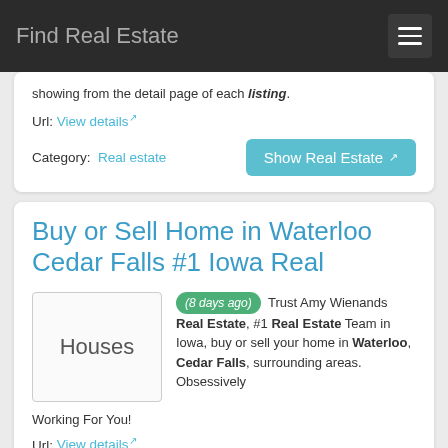Find Real Estate
showing from the detail page of each listing.
Url: View details
Category: Real estate
Buy or Sell Home in Waterloo Cedar Falls #1 Iowa Real
(8 days ago) Trust Amy Wienands Real Estate, #1 Real Estate Team in Iowa, buy or sell your home in Waterloo, Cedar Falls, surrounding areas. Obsessively Working For You!
Url: View details
Category: Real estate